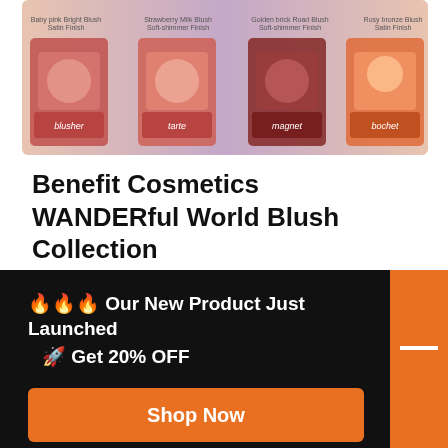[Figure (photo): Row of Benefit Cosmetics blush products displayed in packaging, with pink and orange tones, against a gradient background. Small text labels appear above each product.]
Benefit Cosmetics WANDERful World Blush Collection
One of my favorite makeup products of all time has to be Benefit Cosmetics' blushes. So when I saw that the brand was re-launching their entire
🔥🔥🔥 Our New Product Just Launched
🚀 Get 20% OFF
Shop Now